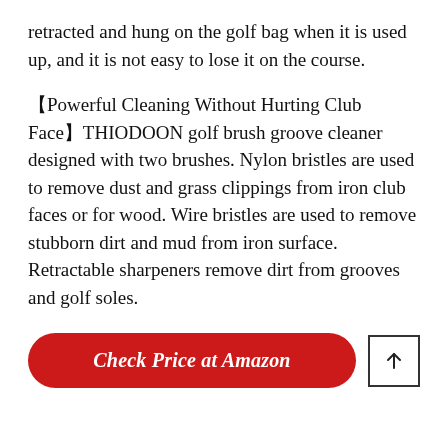retracted and hung on the golf bag when it is used up, and it is not easy to lose it on the course.
【Powerful Cleaning Without Hurting Club Face】THIODOON golf brush groove cleaner designed with two brushes. Nylon bristles are used to remove dust and grass clippings from iron club faces or for wood. Wire bristles are used to remove stubborn dirt and mud from iron surface. Retractable sharpeners remove dirt from grooves and golf soles.
Check Price at Amazon